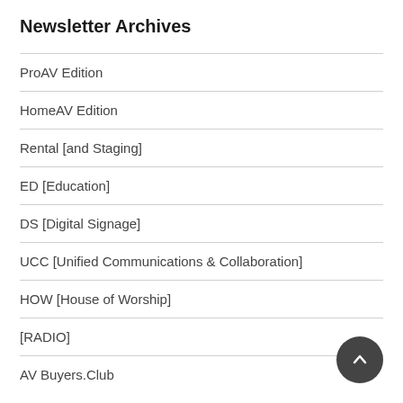Newsletter Archives
ProAV Edition
HomeAV Edition
Rental [and Staging]
ED [Education]
DS [Digital Signage]
UCC [Unified Communications & Collaboration]
HOW [House of Worship]
[RADIO]
AV Buyers.Club